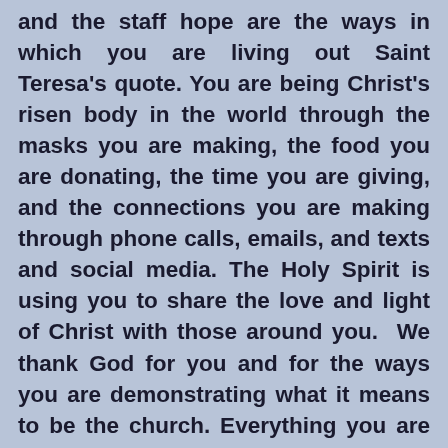and the staff hope are the ways in which you are living out Saint Teresa's quote. You are being Christ's risen body in the world through the masks you are making, the food you are donating, the time you are giving, and the connections you are making through phone calls, emails, and texts and social media. The Holy Spirit is using you to share the love and light of Christ with those around you. We thank God for you and for the ways you are demonstrating what it means to be the church. Everything you are doing is a powerful witness to the risen Christ to an anxious and hurting